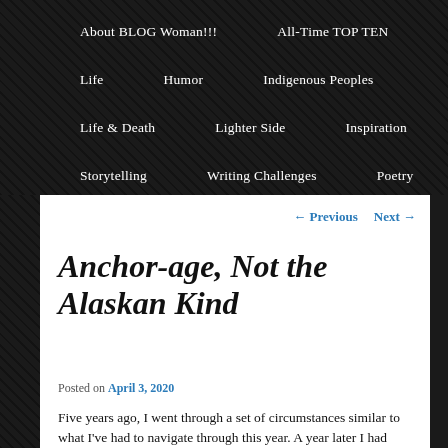About BLOG Woman!!!    All-Time TOP TEN
Life    Humor    Indigenous Peoples
Life & Death    Lighter Side    Inspiration
Storytelling    Writing Challenges    Poetry
← Previous    Next →
Anchor-age, Not the Alaskan Kind
Posted on April 3, 2020
Five years ago, I went through a set of circumstances similar to what I've had to navigate through this year. A year later I had some small moments of reflection